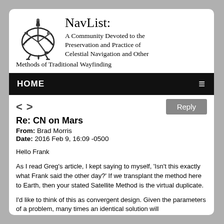[Figure (logo): Sextant illustration logo for NavList]
NavList:
A Community Devoted to the Preservation and Practice of Celestial Navigation and Other Methods of Traditional Wayfinding
HOME
Re: CN on Mars
From: Brad Morris
Date: 2016 Feb 9, 16:09 -0500
Hello Frank
As I read Greg's article, I kept saying to myself, 'Isn't this exactly what Frank said the other day?'  If we transplant the method here to Earth, then your stated Satellite Method is the virtual duplicate.
I'd like to think of this as convergent design.  Given the parameters of a problem, many times an identical solution will be...